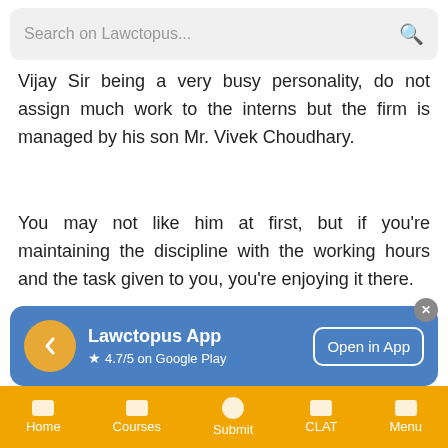Search on Lawctopus...
Vijay Sir being a very busy personality, do not assign much work to the interns but the firm is managed by his son Mr. Vivek Choudhary.
You may not like him at first, but if you're maintaining the discipline with the working hours and the task given to you, you're enjoying it there.
Being an NLIU grad, Vivek sir is much aware of how to make things work and when it comes to
[Figure (infographic): Lawctopus App promotional banner with rating 4.7/5 on Google Play and Open in App button]
Home   Courses   Submit   CLAT   Menu